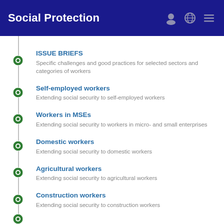Social Protection
ISSUE BRIEFS
Self-employed workers
Workers in MSEs
Domestic workers
Agricultural workers
Construction workers